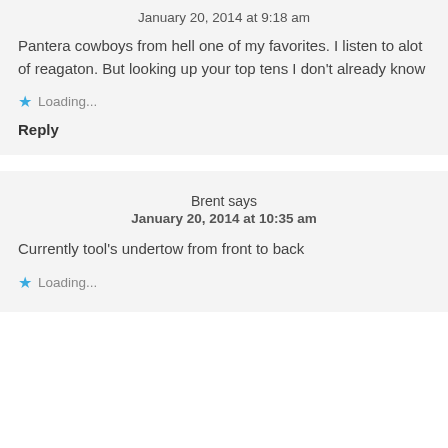January 20, 2014 at 9:18 am
Pantera cowboys from hell one of my favorites. I listen to alot of reagaton. But looking up your top tens I don't already know
Loading...
Reply
Brent says
January 20, 2014 at 10:35 am
Currently tool's undertow from front to back
Loading...